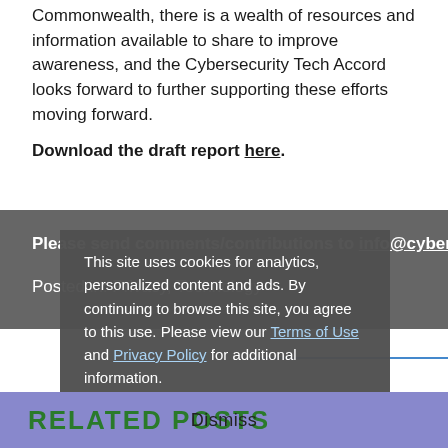Commonwealth, there is a wealth of resources and information available to share to improve awareness, and the Cybersecurity Tech Accord looks forward to further supporting these efforts moving forward.
Download the draft report here.
Please send comments/contributions to info@cybertechaccord.org.
Posted in: Privacy, Technology
This site uses cookies for analytics, personalized content and ads. By continuing to browse this site, you agree to this use. Please view our Terms of Use and Privacy Policy for additional information.
RELATED POSTS
Dismiss